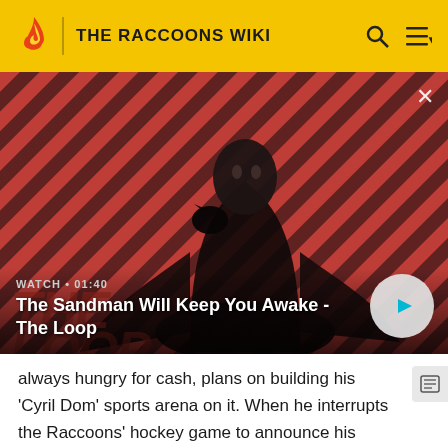THE RACCOONS WIKI
[Figure (screenshot): Video thumbnail showing a dark-robed figure with a raven on their shoulder against a red diagonal striped background, for 'The Sandman Will Keep You Awake - The Loop', duration 01:40]
WATCH • 01:40
The Sandman Will Keep You Awake - The Loop
always hungry for cash, plans on building his 'Cyril Dom' sports arena on it. When he interrupts the Raccoons' hockey game to announce his plan, Bert is goaded into accepting a challenge to meet Cyril's hockey team, winner takes the lake. Meanwhile, Cedric meets Sophia